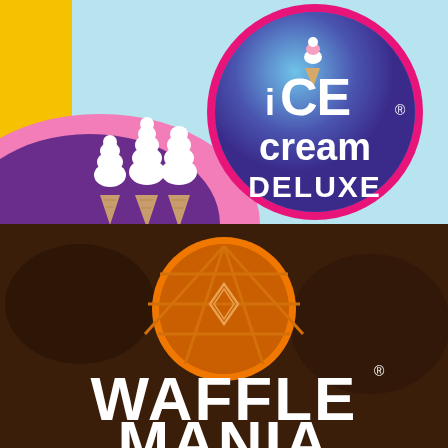[Figure (logo): Ice Cream Deluxe brand logo. Colorful background with yellow, pink and purple swirls and light blue. Three soft-serve ice cream cones on left. Circular badge with pink border and purple/blue fill featuring a small ice cream cone icon and text: ICE cream DELUXE in white letters.]
[Figure (logo): Waffle brand logo. Dark brown background with food imagery. Orange circular waffle badge in center with a waffle texture pattern and diamond symbol. Large white bold text reading WAFFLE at bottom.]